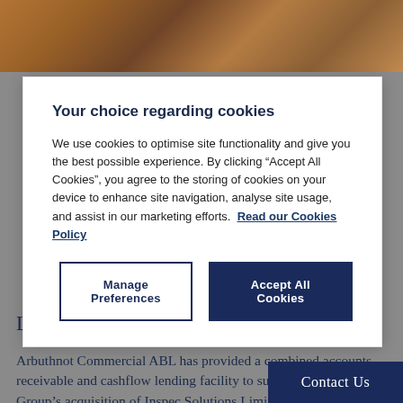[Figure (photo): Industrial facility background photo showing factory equipment, cranes and orange/warm lighting]
Your choice regarding cookies
We use cookies to optimise site functionality and give you the best possible experience. By clicking “Accept All Cookies”, you agree to the storing of cookies on your device to enhance site navigation, analyse site usage, and assist in our marketing efforts. Read our Cookies Policy
Manage Preferences
Accept All Cookies
Longacre’s acquisition of Inspec Solutions
Arbuthnot Commercial ABL has provided a combined accounts receivable and cashflow lending facility to support Longacre Group’s acquisition of Inspec Solutions Limited (Inspec), increasing the group’s facilities to £12.1m.
Contact Us